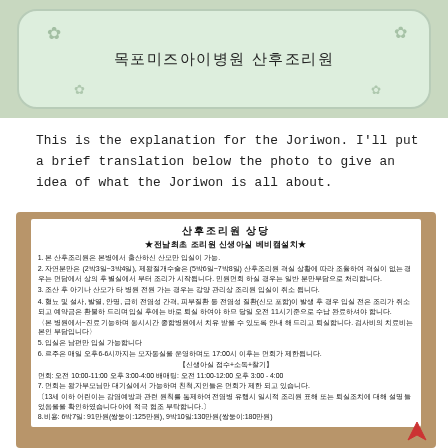[Figure (photo): Photo of a light green rounded sign/banner with snowflake decorations reading '목포미즈아이병원 산후조리원' (Mokpo Mizai Hospital Postpartum Care Center)]
This is the explanation for the Joriwon.  I'll put a brief translation below the photo to give an idea of what the Joriwon is all about.
[Figure (photo): Photo of a printed Korean document on white paper placed on a wooden surface. The document header reads '산후조리원 상당' and '★전남최초 조리원 신생아실 베비캠설치★' followed by 8 numbered items in Korean describing postpartum care center rules and information about admission, visiting hours, fees etc.]